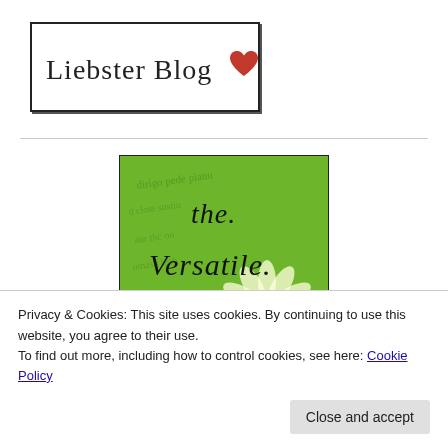[Figure (logo): Liebster Blog logo with a red heart, text in serif font inside a bordered rectangle]
[Figure (illustration): The Versatile Blogger award image: green background with handwritten-style text 'the Versatile Blogger' and a white flower illustration, faded cursive script in background]
Privacy & Cookies: This site uses cookies. By continuing to use this website, you agree to their use.
To find out more, including how to control cookies, see here: Cookie Policy
Close and accept